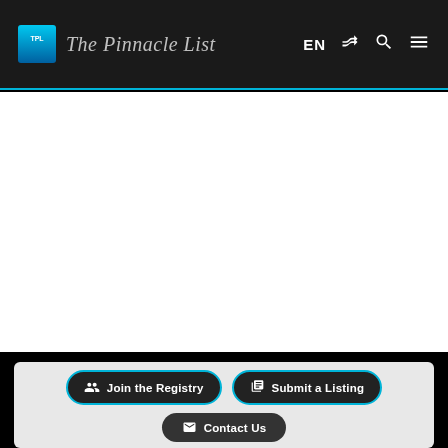The Pinnacle List — EN navigation header with logo, shuffle, search, and menu icons
[Figure (screenshot): White main content area (blank)]
Join the Registry | Submit a Listing | Contact Us